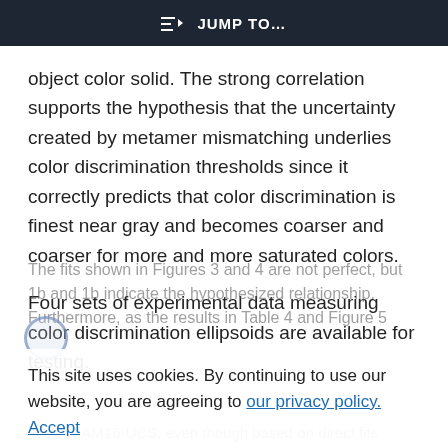JUMP TO…
object color solid. The strong correlation supports the hypothesis that the uncertainty created by metamer mismatching underlies color discrimination thresholds since it correctly predicts that color discrimination is finest near gray and becomes coarser and coarser for more and more saturated colors.
Four sets of experimental data measuring color discrimination ellipsoids are available for testing.
The fits shown in Figures 3 and 4 are not perfect, but 1b and 1b indicate the hypothesized relationship. Furthermore, as the results in Table 4 and Figure 5
This site uses cookies. By continuing to use our website, you are agreeing to our privacy policy. Accept
show, CAM16-UCS, even though based on direct fits